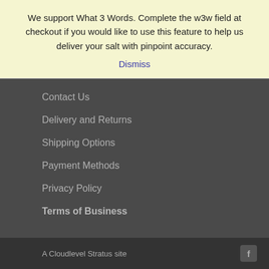We support What 3 Words. Complete the w3w field at checkout if you would like to use this feature to help us deliver your salt with pinpoint accuracy.
Dismiss
Contact Us
Delivery and Returns
Shipping Options
Payment Methods
Privacy Policy
Terms of Business
A Cloudlevel Stratus site